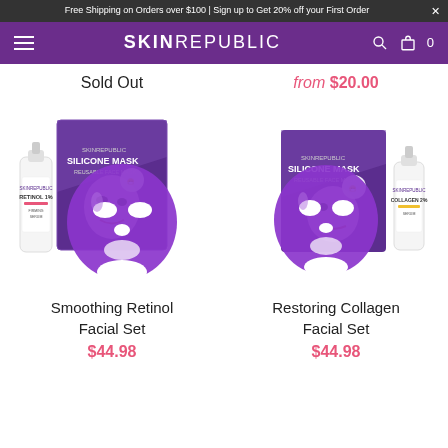Free Shipping on Orders over $100 | Sign up to Get 20% off your First Order
SKINREPUBLIC
Sold Out
from $20.00
[Figure (photo): Smoothing Retinol Facial Set product image showing silicone face mask, purple box labeled Skin Republic Silicone Mask, and retinol serum bottle]
Smoothing Retinol Facial Set
$44.98
[Figure (photo): Restoring Collagen Facial Set product image showing silicone face mask, purple box labeled Skin Republic Silicone Mask, and collagen serum bottle]
Restoring Collagen Facial Set
$44.98